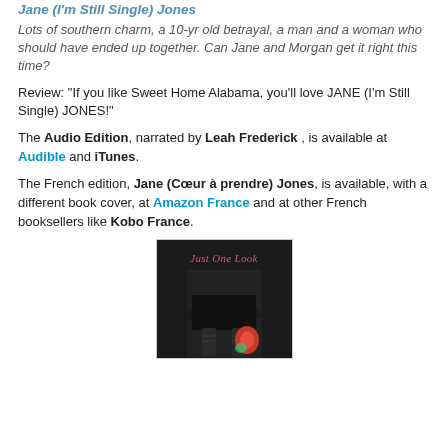Jane (I'm Still Single) Jones
Lots of southern charm, a 10-yr old betrayal, a man and a woman who should have ended up together. Can Jane and Morgan get it right this time?
Review: "If you like Sweet Home Alabama, you'll love JANE (I'm Still Single) JONES!"
The Audio Edition, narrated by Leah Frederick , is available at Audible and iTunes.
The French edition, Jane (Cœur à prendre) Jones, is available, with a different book cover, at Amazon France and at other French booksellers like Kobo France.
[Figure (photo): Book cover image for 'Just One Look' showing a woman in a black skirt with the title in pink cursive text]